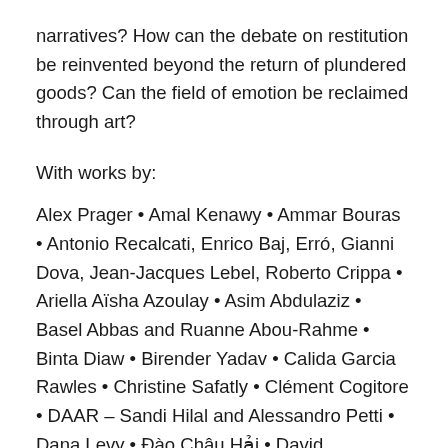narratives? How can the debate on restitution be reinvented beyond the return of plundered goods? Can the field of emotion be reclaimed through art?
With works by:
Alex Prager • Amal Kenawy • Ammar Bouras • Antonio Recalcati, Enrico Baj, Erró, Gianni Dova, Jean-Jacques Lebel, Roberto Crippa • Ariella Aïsha Azoulay • Asim Abdulaziz • Basel Abbas and Ruanne Abou-Rahme • Binta Diaw • Birender Yadav • Calida Garcia Rawles • Christine Safatly • Clément Cogitore • DAAR – Sandi Hilal and Alessandro Petti • Dana Levy • Đào Châu Hải • David Chavalarias • Deneth Piumakshi Veda Arachchige • Driss Ouadahi • Dubréus Lhérisson • Elske Rosenfeld • Etinosa Yvonne • Florian Sông